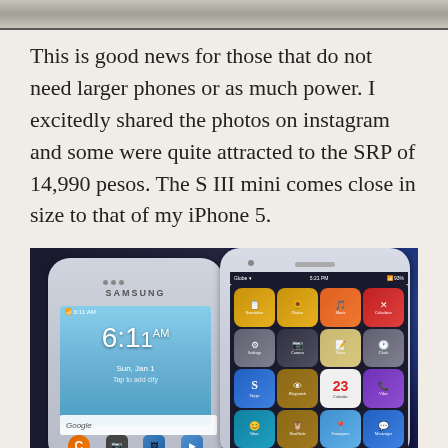[Figure (photo): Top portion of a previous image, showing a light-colored background with a dark horizontal bar at the top edge]
This is good news for those that do not need larger phones or as much power. I excitedly shared the photos on instagram and some were quite attracted to the SRP of 14,990 pesos. The S III mini comes close in size to that of my iPhone 5.
[Figure (photo): Photo of two smartphones side by side: a Samsung Galaxy S III mini (left) showing lock screen with time 6:11 AM on January 1, and an iPhone 5 (right) showing home screen with various apps]